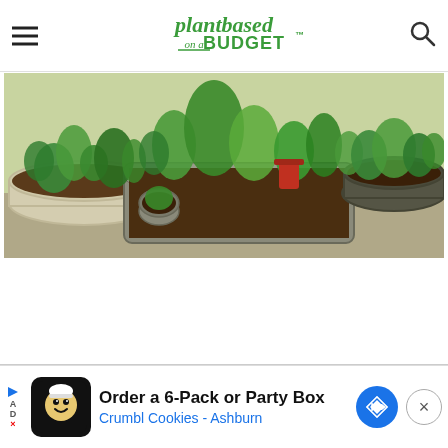[Figure (logo): Plant Based on a Budget logo in green script/bold font]
[Figure (photo): Raised garden beds with various vegetables and plants, metal galvanized raised beds on gravel, outdoor garden setting]
[Figure (other): Advertisement banner: Order a 6-Pack or Party Box - Crumbl Cookies - Ashburn, with cookie logo and navigation arrow icon]